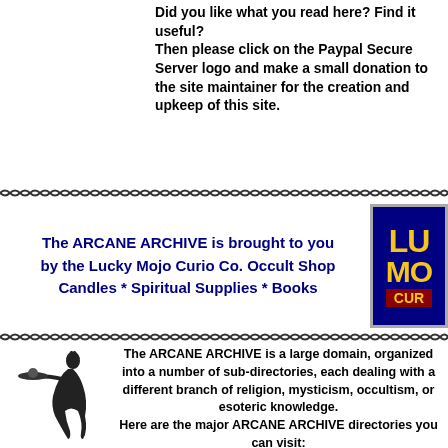Did you like what you read here? Find it useful?
Then please click on the Paypal Secure Server logo and make a small donation to the site maintainer for the creation and upkeep of this site.
[Figure (illustration): Decorative zigzag/snake divider line]
The ARCANE ARCHIVE is brought to you by the Lucky Mojo Curio Co. Occult Shop Candles * Spiritual Supplies * Books
[Figure (logo): Lucky Mojo Curio Co. logo — navy background with yellow and red text reading LU MO CUR]
[Figure (illustration): Decorative zigzag/snake divider line]
The ARCANE ARCHIVE is a large domain, organized into a number of sub-directories, each dealing with a different branch of religion, mysticism, occultism, or esoteric knowledge.
Here are the major ARCANE ARCHIVE directories you can visit:
[Figure (illustration): Silhouette figure of a person carrying a tray]
interdisciplinary: geometry, natural proportion, ratio,